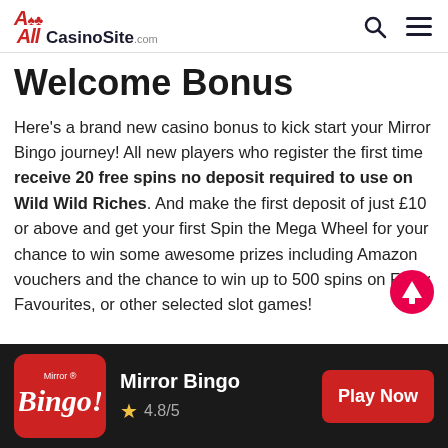AllCasinoSite.com
Welcome Bonus
Here's a brand new casino bonus to kick start your Mirror Bingo journey! All new players who register the first time receive 20 free spins no deposit required to use on Wild Wild Riches. And make the first deposit of just £10 or above and get your first Spin the Mega Wheel for your chance to win some awesome prizes including Amazon vouchers and the chance to win up to 500 spins on Fluffy Favourites, or other selected slot games!
[Figure (logo): Mirror Bingo logo on red background]
Mirror Bingo 4.8/5